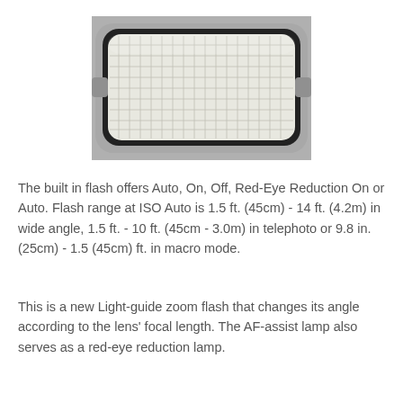[Figure (photo): Close-up photo of a built-in camera flash unit with a rectangular lens/diffuser panel with grid texture, set in a gray metallic body with rounded corners and a black border.]
The built in flash offers Auto, On, Off, Red-Eye Reduction On or Auto. Flash range at ISO Auto is 1.5 ft. (45cm) - 14 ft. (4.2m) in wide angle, 1.5 ft. - 10 ft. (45cm - 3.0m) in telephoto or 9.8 in. (25cm) - 1.5 (45cm) ft. in macro mode.
This is a new Light-guide zoom flash that changes its angle according to the lens' focal length. The AF-assist lamp also serves as a red-eye reduction lamp.